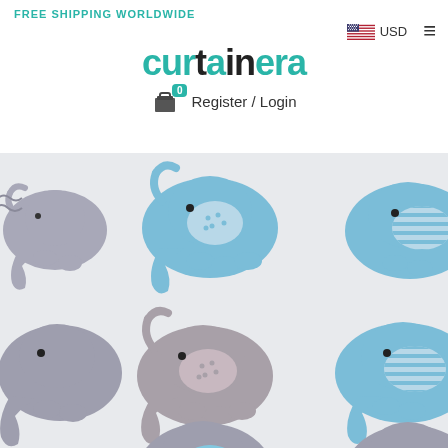FREE SHIPPING WORLDWIDE
[Figure (logo): CurtainEra logo with teal and dark text, USD flag selector and hamburger menu]
Register / Login
[Figure (photo): Close-up photo of curtain fabric with repeating elephant pattern in blue and grey tones on white background]